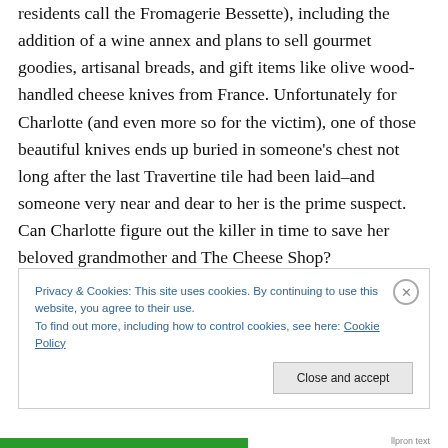residents call the Fromagerie Bessette), including the addition of a wine annex and plans to sell gourmet goodies, artisanal breads, and gift items like olive wood-handled cheese knives from France. Unfortunately for Charlotte (and even more so for the victim), one of those beautiful knives ends up buried in someone’s chest not long after the last Travertine tile had been laid–and someone very near and dear to her is the prime suspect. Can Charlotte figure out the killer in time to save her beloved grandmother and The Cheese Shop?
Privacy & Cookies: This site uses cookies. By continuing to use this website, you agree to their use. To find out more, including how to control cookies, see here: Cookie Policy
Close and accept